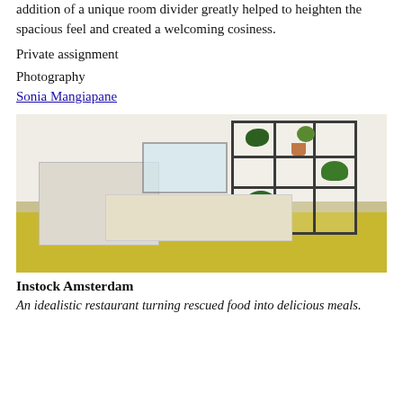addition of a unique room divider greatly helped to heighten the spacious feel and created a welcoming cosiness.
Private assignment
Photography
Sonia Mangiapane
[Figure (photo): Interior photo of a modern open-plan apartment with a light wood room divider/shelving unit featuring potted plants, white kitchen cabinets to the left, and a yellow-green floor.]
Instock Amsterdam
An idealistic restaurant turning rescued food into delicious meals.